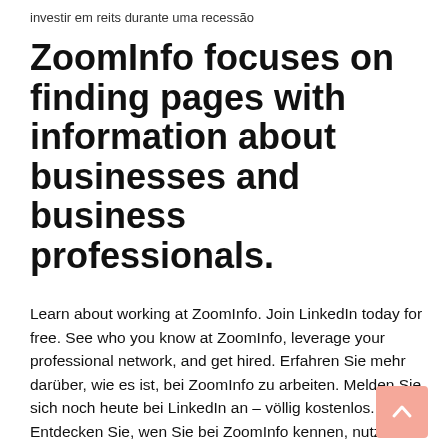investir em reits durante uma recessão
ZoomInfo focuses on finding pages with information about businesses and business professionals.
Learn about working at ZoomInfo. Join LinkedIn today for free. See who you know at ZoomInfo, leverage your professional network, and get hired. Erfahren Sie mehr darüber, wie es ist, bei ZoomInfo zu arbeiten. Melden Sie sich noch heute bei LinkedIn an – völlig kostenlos. Entdecken Sie, wen Sie bei ZoomInfo kennen, nutzen Sie Ihr berufliches Netzwerk und finden Sie in diesem Unternehmen eine Stelle. * Password Vaulting - Azure Active Directory enables administrators to securely store passwords in the cloud, and assign those passwords to individual users or groups for shared access. zoominfo.meta.description. Great to see you again. You are not